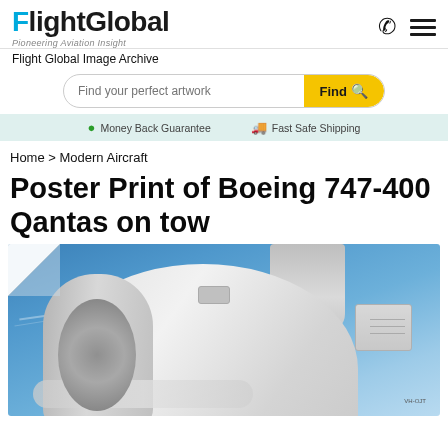FlightGlobal — Pioneering Aviation Insight
Flight Global Image Archive
Find your perfect artwork
Money Back Guarantee  Fast Safe Shipping
Home > Modern Aircraft
Poster Print of Boeing 747-400 Qantas on tow
[Figure (photo): Close-up photograph of a Boeing 747-400 Qantas aircraft engine nacelle (Rolls-Royce) on tow, against a bright blue sky. The image features a peeling page-curl effect in the top-left corner.]